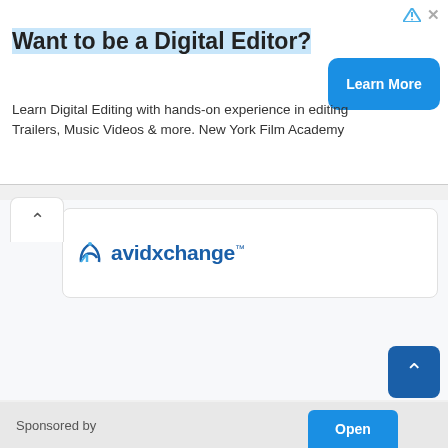Want to be a Digital Editor?
Learn Digital Editing with hands-on experience in editing Trailers, Music Videos & more. New York Film Academy
[Figure (logo): AvidXchange company logo with stylized 'a' icon in blue and teal]
Sponsored by